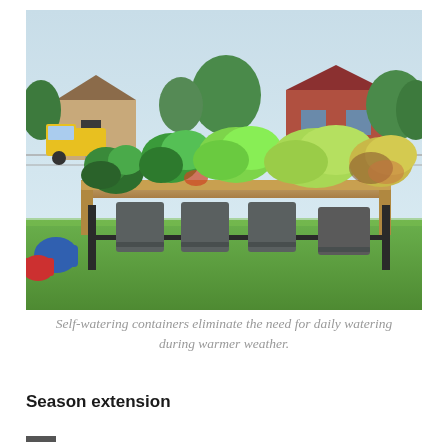[Figure (photo): A raised garden bed with self-watering containers growing various leafy greens and vegetables, set on a grassy area. In the background is a suburban neighborhood with houses, trees, a chain-link fence, and a yellow truck parked on the street.]
Self-watering containers eliminate the need for daily watering during warmer weather.
Season extension